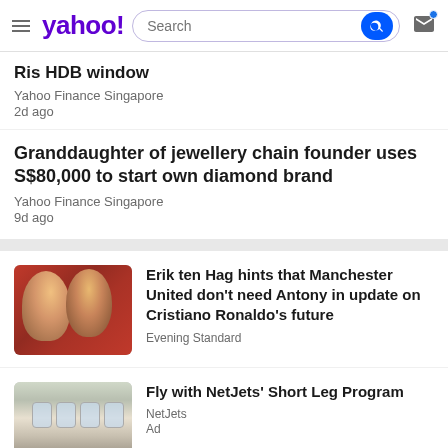yahoo! Search
Ris HDB window
Yahoo Finance Singapore
2d ago
Granddaughter of jewellery chain founder uses S$80,000 to start own diamond brand
Yahoo Finance Singapore
9d ago
Erik ten Hag hints that Manchester United don't need Antony in update on Cristiano Ronaldo's future
Evening Standard
Fly with NetJets' Short Leg Program
NetJets
Ad